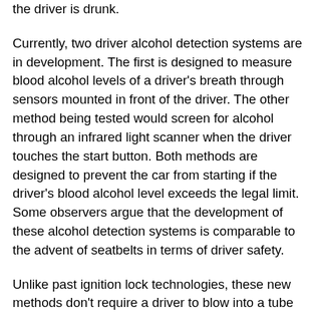the driver is drunk.
Currently, two driver alcohol detection systems are in development. The first is designed to measure blood alcohol levels of a driver's breath through sensors mounted in front of the driver. The other method being tested would screen for alcohol through an infrared light scanner when the driver touches the start button. Both methods are designed to prevent the car from starting if the driver's blood alcohol level exceeds the legal limit. Some observers argue that the development of these alcohol detection systems is comparable to the advent of seatbelts in terms of driver safety.
Unlike past ignition lock technologies, these new methods don't require a driver to blow into a tube in order to start the car. As this juncture, however, the technology is not being considered as a required safety feature for all cars. Instead, driver alcohol detection systems would be marketed as an optional feature that alerts the driver when he or she is